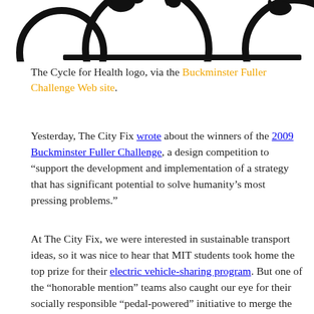[Figure (logo): Cycle for Health logo — decorative black circular motif with bicycle/figure elements on a white background, partially cropped at top of page]
The Cycle for Health logo, via the Buckminster Fuller Challenge Web site.
Yesterday, The City Fix wrote about the winners of the 2009 Buckminster Fuller Challenge, a design competition to “support the development and implementation of a strategy that has significant potential to solve humanity’s most pressing problems.”
At The City Fix, we were interested in sustainable transport ideas, so it was nice to hear that MIT students took home the top prize for their electric vehicle-sharing program. But one of the “honorable mention” teams also caught our eye for their socially responsible “pedal-powered” initiative to merge the use of recycled bicycles with healthcare delivery in rural East Africa, particularly